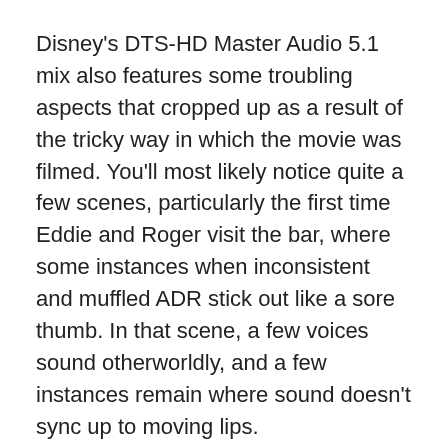Disney's DTS-HD Master Audio 5.1 mix also features some troubling aspects that cropped up as a result of the tricky way in which the movie was filmed. You'll most likely notice quite a few scenes, particularly the first time Eddie and Roger visit the bar, where some instances when inconsistent and muffled ADR stick out like a sore thumb. In that scene, a few voices sound otherworldly, and a few instances remain where sound doesn't sync up to moving lips.
Alan Silvestri's memorable score (which not so coincidentally has a ton in common with the score to 'Back to the Future') holds up very well here. His rousing strings and booming drums are given ample room to spread out and keep the movie tense. Rear channels are filled with ambient sound. The busy...